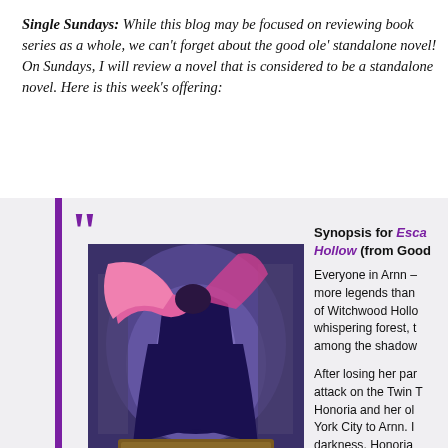Single Sundays: While this blog may be focused on reviewing book series as a whole, we can't forget about the good ole' standalone novel! On Sundays, I will review a novel that is considered to be a standalone novel. Here is this week's offering:
[Figure (illustration): Book cover for 'Escape from Witchwood Hollow' showing a figure with flowing pink hair in a dark blue/purple cloak against a misty forest background, with a wooden sign reading 'Escape from Witchwood' in the lower portion.]
Synopsis for Escape from Witchwood Hollow (from Goodreads): Everyone in Arnn – more legends than of Witchwood Hollo whispering forest, t among the shadow After losing her par attack on the Twin T Honoria and her ol York City to Arnn. I darkness. Honoria